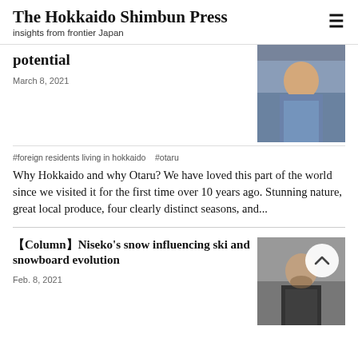The Hokkaido Shimbun Press
insights from frontier Japan
potential
March 8, 2021
[Figure (photo): Portrait photo of a man in a blue blazer seated indoors]
#foreign residents living in hokkaido   #otaru
Why Hokkaido and why Otaru? We have loved this part of the world since we visited it for the first time over 10 years ago. Stunning nature, great local produce, four clearly distinct seasons, and...
【Column】Niseko's snow influencing ski and snowboard evolution
Feb. 8, 2021
[Figure (photo): Portrait photo of a man in a dark suit with beard, with a chevron/back-to-top button overlay]